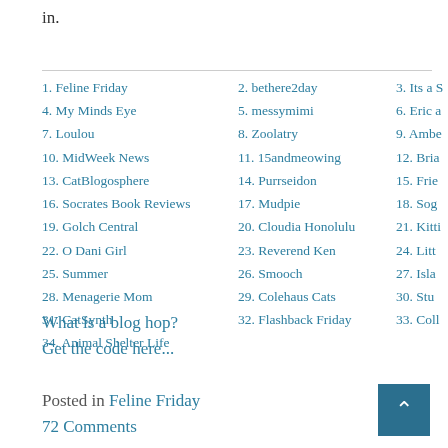in.
1. Feline Friday   2. bethere2day   3. Its a S
4. My Minds Eye   5. messymimi   6. Eric a
7. Loulou   8. Zoolatry   9. Ambe
10. MidWeek News   11. 15andmeowing   12. Bria
13. CatBlogosphere   14. Purrseidon   15. Frie
16. Socrates Book Reviews   17. Mudpie   18. Sog
19. Golch Central   20. Cloudia Honolulu   21. Kitti
22. O Dani Girl   23. Reverend Ken   24. Litt
25. Summer   26. Smooch   27. Isla
28. Menagerie Mom   29. Colehaus Cats   30. Stu
31. CatSynth   32. Flashback Friday   33. Coll
34. Animal Shelter Life
What is a blog hop?
Get the code here...
Posted in Feline Friday
72 Comments